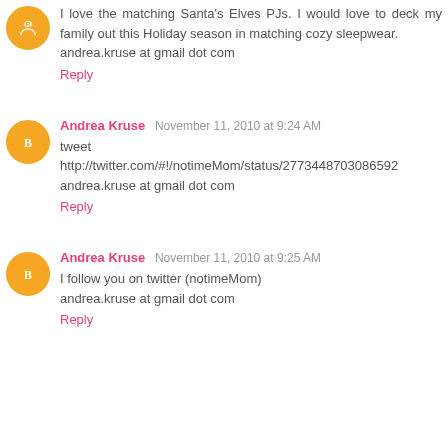I love the matching Santa's Elves PJs. I would love to deck my family out this Holiday season in matching cozy sleepwear.
andrea.kruse at gmail dot com
Reply
Andrea Kruse  November 11, 2010 at 9:24 AM
tweet
http://twitter.com/#!/notimeMom/status/2773448703086592
andrea.kruse at gmail dot com
Reply
Andrea Kruse  November 11, 2010 at 9:25 AM
I follow you on twitter (notimeMom)
andrea.kruse at gmail dot com
Reply